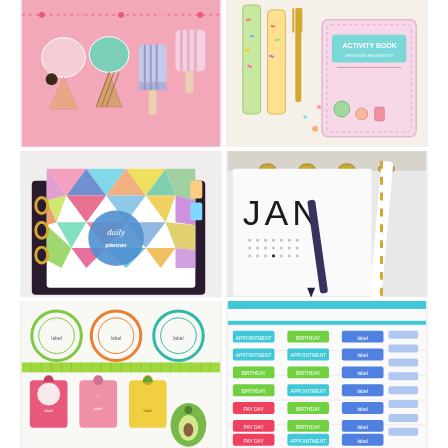[Figure (photo): Pink background with cute kawaii ice cream cone and popsicle paper cut-outs/stickers arranged on a pink surface]
[Figure (photo): Colorful decorated wooden craft sticks/bookmarks with sprinkles and a pink activity book with 'ACTIVITY BOOK' text and ice cream illustrations]
[Figure (photo): Colorful geometric patterned daily planner in a black ring binder with gold rings]
[Figure (photo): White planner page showing 'JAN' in large letters, a calendar grid, with a dark pen and gold-striped straw nearby]
[Figure (photo): Colorful printable sticker sheet with fruit-themed gift tags, circular labels, and decorative tags in pink, green, yellow, and teal]
[Figure (photo): Planner sticker sheet with colored label stickers for appointments, birthdays, and pay day in teal, green, pink, and blue]